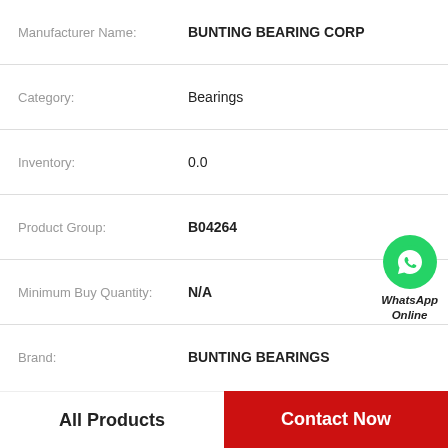| Field | Value |
| --- | --- |
| Manufacturer Name: | BUNTING BEARING CORP |
| Category: | Bearings |
| Inventory: | 0.0 |
| Product Group: | B04264 |
| Minimum Buy Quantity: | N/A |
| Brand: | BUNTING BEARINGS |
| EAN: | 0717905227202 |
Product Details
| Weight / Kilogram | 0.005 |
| --- | --- |
| Weight / Kilogram | 0.005 |
[Figure (logo): WhatsApp Online green phone icon with label 'WhatsApp Online']
All Products
Contact Now